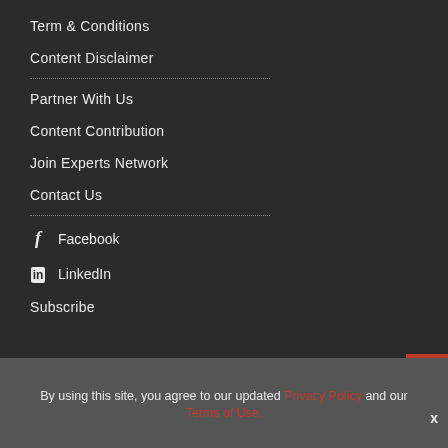Term & Conditions
Content Disclaimer
Partner With Us
Content Contribution
Join Experts Network
Contact Us
Facebook
LinkedIn
Subscribe
By using this site, you agree to our updated Privacy Policy and our Terms of Use.